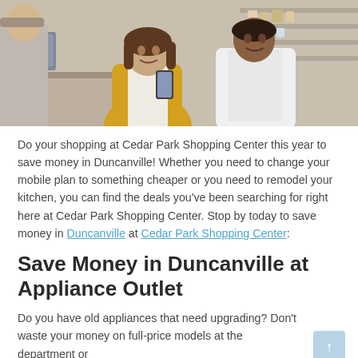[Figure (photo): Photo of two people in a store or pharmacy — a woman in a yellow jacket holding a smartphone showing it to a man in a white coat, with store shelves visible in the background.]
Do your shopping at Cedar Park Shopping Center this year to save money in Duncanville! Whether you need to change your mobile plan to something cheaper or you need to remodel your kitchen, you can find the deals you've been searching for right here at Cedar Park Shopping Center. Stop by today to save money in Duncanville at Cedar Park Shopping Center:
Save Money in Duncanville at Appliance Outlet
Do you have old appliances that need upgrading? Don't waste your money on full-price models at the department or